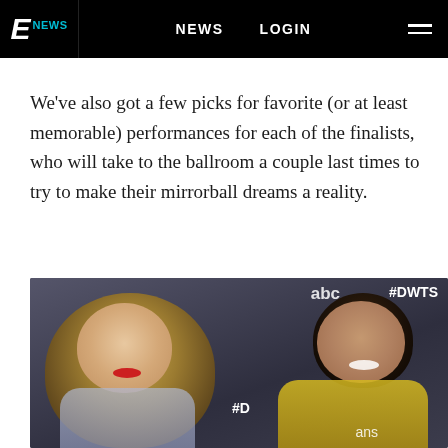E NEWS   NEWS   LOGIN
We've also got a few picks for favorite (or at least memorable) performances for each of the finalists, who will take to the ballroom a couple last times to try to make their mirrorball dreams a reality.
[Figure (photo): Two people posing in front of #DWTS and ABC backdrop. A blonde woman in glittery outfit with red lipstick on the left, and a man in yellow jacket smiling on the right.]